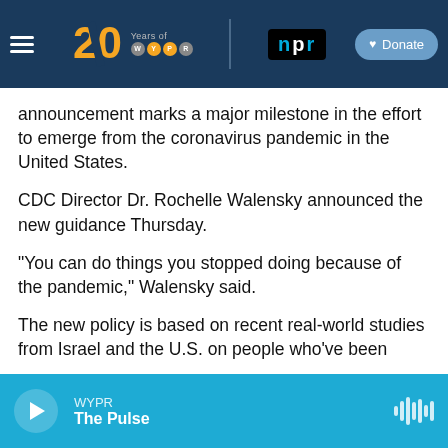[Figure (screenshot): WYPR 20 Years of WYPR / NPR navigation bar with a Donate button]
announcement marks a major milestone in the effort to emerge from the coronavirus pandemic in the United States.
CDC Director Dr. Rochelle Walensky announced the new guidance Thursday.
"You can do things you stopped doing because of the pandemic," Walensky said.
The new policy is based on recent real-world studies from Israel and the U.S. on people who've been vaccinated, she said.
[Figure (screenshot): WYPR The Pulse audio player bar at the bottom]